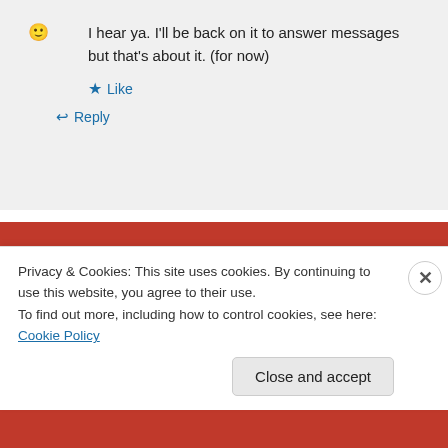🙂 I hear ya. I'll be back on it to answer messages but that's about it. (for now)
★ Like
↩ Reply
[Figure (screenshot): Red banner advertisement showing 'the web — ours, and everyone else's.' with a 'Start reading' button]
Privacy & Cookies: This site uses cookies. By continuing to use this website, you agree to their use. To find out more, including how to control cookies, see here: Cookie Policy
Close and accept